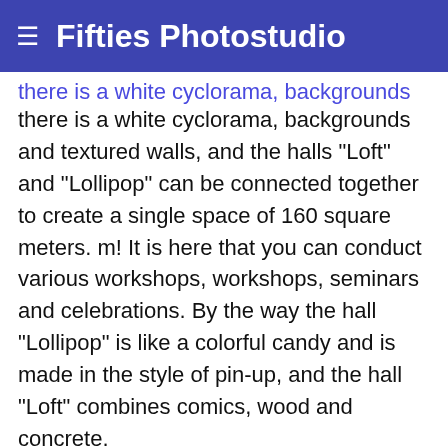Fifties Photostudio
there is a white cyclorama, backgrounds and textured walls, and the halls "Loft" and "Lollipop" can be connected together to create a single space of 160 square meters. m! It is here that you can conduct various workshops, workshops, seminars and celebrations. By the way the hall "Lollipop" is like a colorful candy and is made in the style of pin-up, and the hall "Loft" combines comics, wood and concrete.
The photo studio has the equipment of American company Paul C. Buff, and in each of the halls there are at least two flashes. There are octoboks, softboxes, strips, beauty dish, reflectors, fresnel lenses, tripods, stand-crane, sources of constant light. All racks are equipped with wheels, so they can easily be moved to any convenient place. The rental price of any room is 300